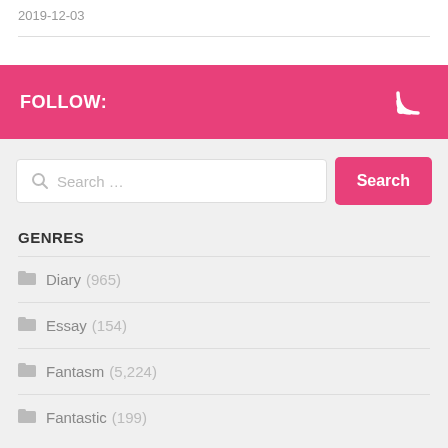2019-12-03
FOLLOW:
[Figure (other): RSS feed icon (white WiFi-style signal icon on pink background)]
Search ...
GENRES
Diary (965)
Essay (154)
Fantasm (5,224)
Fantastic (199)